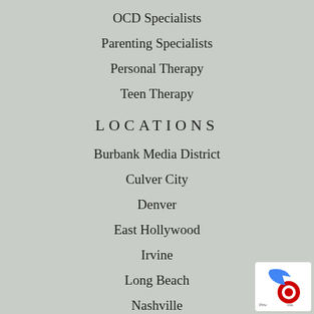OCD Specialists
Parenting Specialists
Personal Therapy
Teen Therapy
LOCATIONS
Burbank Media District
Culver City
Denver
East Hollywood
Irvine
Long Beach
Nashville